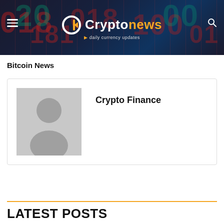Cryptonews · daily currency updates
Bitcoin News
[Figure (illustration): Default user avatar placeholder with grey background showing silhouette of a person]
Crypto Finance
LATEST POSTS